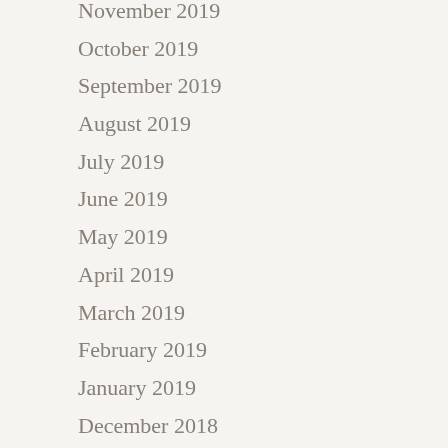November 2019
October 2019
September 2019
August 2019
July 2019
June 2019
May 2019
April 2019
March 2019
February 2019
January 2019
December 2018
November 2018
October 2018
September 2018
August 2018
July 2018
June 2018
May 2018
April 2018
March 2018